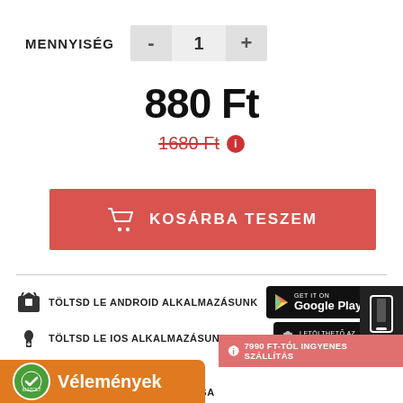MENNYISÉG  -  1  +
880 Ft
1680 Ft
[Figure (other): Add to cart button with shopping cart icon, red background, text: KOSÁRBA TESZEM]
TÖLTSD LE ANDROID ALKALMAZÁSUNK
[Figure (logo): Google Play badge]
TÖLTSD LE IOS ALKALMAZÁSUNK
[Figure (logo): App Store badge]
[Figure (other): Mobile phone icon dark block]
KÉRDÉSE VAN A TERMÉKRŐL?
TERMÉKADATLAP MEGOSZTÁSA
7990 FT-TÓL INGYENES SZÁLLÍTÁS
[Figure (other): Vélemények reviews badge with orange background and green seal]